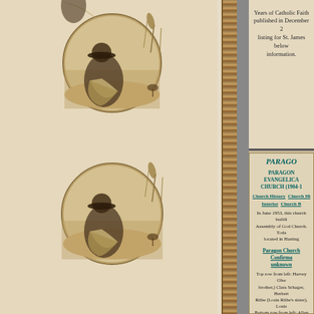[Figure (illustration): Decorative page border with sepia-toned circular illustrations of a woman in period dress sitting with a hat, with western/prairie scenes including a rider on horseback, repeated twice vertically, with wheat/grass decorative elements, set against a cream background with rope-style vertical border.]
Years of Catholic Faith published in December 2[0...] listing for St. James below information.
PARAGO[N]
PARAGON EVANGELICAL CHURCH (1904-[?])
Church History   Church Hi[story] Interior   Church B[uilding]
In June 1953, this church buildi[ng was sold to] Assembly of God Church. Toda[y...] located in Harting[ton...]
Paragon Church Confirma[tion] unknown
Top row from left: Harvey Olse[n,] brother,) Clara Schager, Herbert[...] Riibe (Louis Riibe's sister), Louis[...] Bottom row from left: Allen Olse[n...]